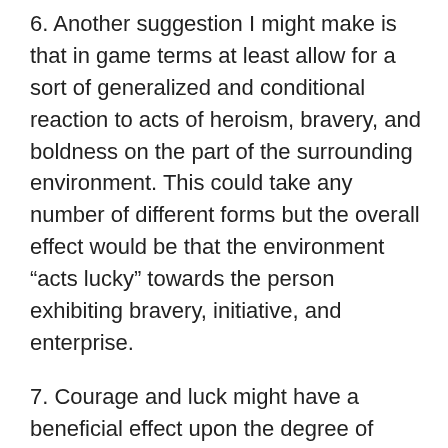6. Another suggestion I might make is that in game terms at least allow for a sort of generalized and conditional reaction to acts of heroism, bravery, and boldness on the part of the surrounding environment. This could take any number of different forms but the overall effect would be that the environment “acts lucky” towards the person exhibiting bravery, initiative, and enterprise.
7. Courage and luck might have a beneficial effect upon the degree of power and level of control one may exercise over magic, magical items, artifacts, and devices, and/or more mundane types of tools/technology.
8. If courage increases good fortune and good fortune makes survival more likely then heroism and bravery should likely have direct and positive effects upon any